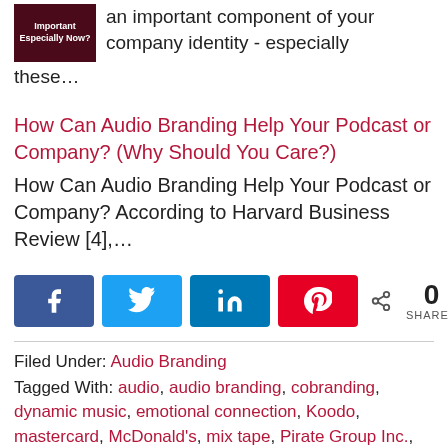[Figure (photo): Dark red thumbnail image with white bold text reading 'Important Especially Now?' beside text about company identity]
an important component of your company identity - especially these…
How Can Audio Branding Help Your Podcast or Company? (Why Should You Care?)
How Can Audio Branding Help Your Podcast or Company? According to Harvard Business Review [4],…
[Figure (infographic): Social share buttons: Facebook (blue), Twitter (light blue), LinkedIn (dark blue), Pinterest (red), and share count showing 0 SHARES]
Filed Under: Audio Branding
Tagged With: audio, audio branding, cobranding, dynamic music, emotional connection, Koodo, mastercard, McDonald's, mix tape, Pirate Group Inc., Porter Airlines, quality of brand, sound proficient